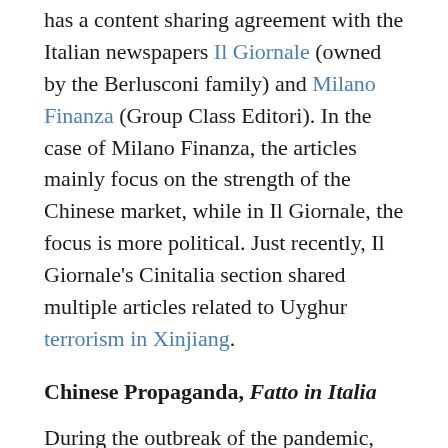has a content sharing agreement with the Italian newspapers Il Giornale (owned by the Berlusconi family) and Milano Finanza (Group Class Editori). In the case of Milano Finanza, the articles mainly focus on the strength of the Chinese market, while in Il Giornale, the focus is more political. Just recently, Il Giornale's Cinitalia section shared multiple articles related to Uyghur terrorism in Xinjiang.
Chinese Propaganda, Fatto in Italia
During the outbreak of the pandemic, even the Italian national television channels adopted a pro-China narrative, focusing on the benefits of Italy-China relations. An investigation conducted by the independent newspaper Le Formiche showed the media devoted significantly greater attention to China's data. Indeed, the question from the US...